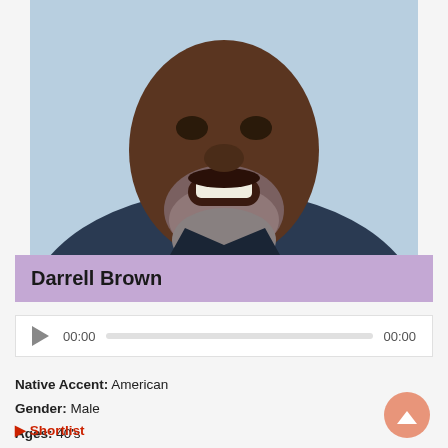[Figure (photo): Close-up headshot of Darrell Brown, a middle-aged Black man with a grey beard, smiling, wearing a dark blazer, against a light blue background]
Darrell Brown
00:00   00:00 (audio player)
Native Accent: American
Gender: Male
Ages: 40's
Characteristics: Warm, Assured, Engaging
Voice Quality: Smooth, Strong, Deep